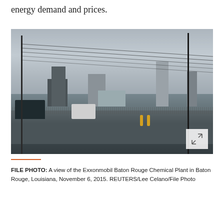energy demand and prices.
[Figure (photo): FILE PHOTO: A view of the Exxonmobil Baton Rouge Chemical Plant in Baton Rouge, Louisiana, November 6, 2015. Industrial facility behind a chain-link fence with power poles and wires in the foreground. Dark clouds overhead. Vehicles parked in front.]
FILE PHOTO: A view of the Exxonmobil Baton Rouge Chemical Plant in Baton Rouge, Louisiana, November 6, 2015. REUTERS/Lee Celano/File Photo